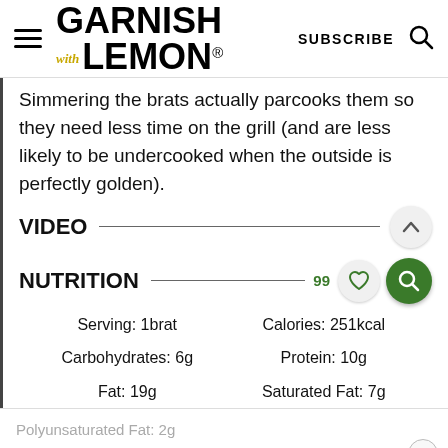GARNISH with LEMON® | SUBSCRIBE
Simmering the brats actually parcooks them so they need less time on the grill (and are less likely to be undercooked when the outside is perfectly golden).
VIDEO
NUTRITION
|  |  |
| --- | --- |
| Serving: 1brat | Calories: 251kcal |
| Carbohydrates: 6g | Protein: 10g |
| Fat: 19g | Saturated Fat: 7g |
Polyunsaturated Fat: 2g
Monounsaturated Fat: 10g